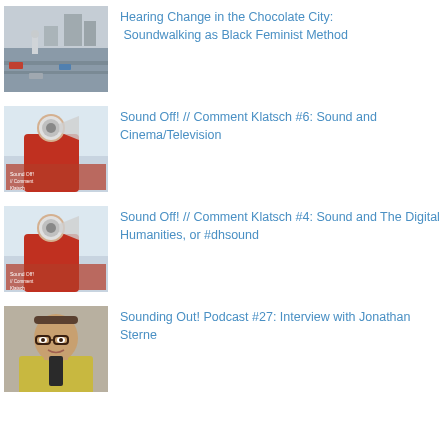[Figure (photo): Thumbnail image of a city street scene, aerial view with buildings and cars]
Hearing Change in the Chocolate City: Soundwalking as Black Feminist Method
[Figure (photo): Thumbnail image showing a person in red shirt with a megaphone, Sound Off Comment Klatsch branding]
Sound Off! // Comment Klatsch #6: Sound and Cinema/Television
[Figure (photo): Thumbnail image showing a person in red shirt with a megaphone, Sound Off Comment Klatsch branding]
Sound Off! // Comment Klatsch #4: Sound and The Digital Humanities, or #dhsound
[Figure (photo): Thumbnail portrait of a middle-aged man with glasses wearing a yellow shirt]
Sounding Out! Podcast #27: Interview with Jonathan Sterne